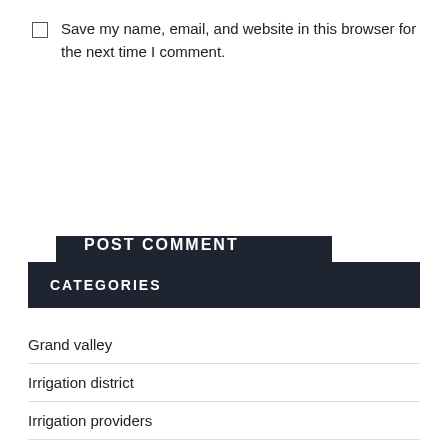Save my name, email, and website in this browser for the next time I comment.
POST COMMENT
CATEGORIES
Grand valley
Irrigation district
Irrigation providers
Irrigation system
Valley irrigation